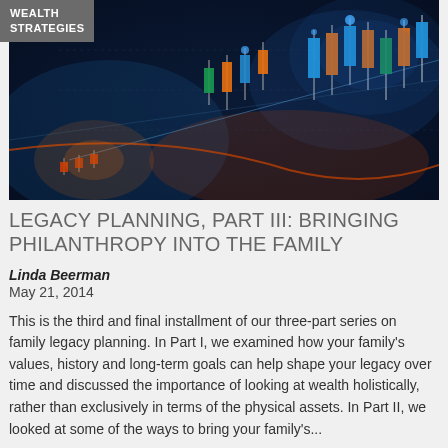WEALTH STRATEGIES
[Figure (photo): Financial stock market chart with candlestick patterns and glowing indicators on a dark blue background]
LEGACY PLANNING, PART III: BRINGING PHILANTHROPY INTO THE FAMILY
Linda Beerman
May 21, 2014
This is the third and final installment of our three-part series on family legacy planning. In Part I, we examined how your family's values, history and long-term goals can help shape your legacy over time and discussed the importance of looking at wealth holistically, rather than exclusively in terms of the physical assets. In Part II, we looked at some of the ways to bring your family's...